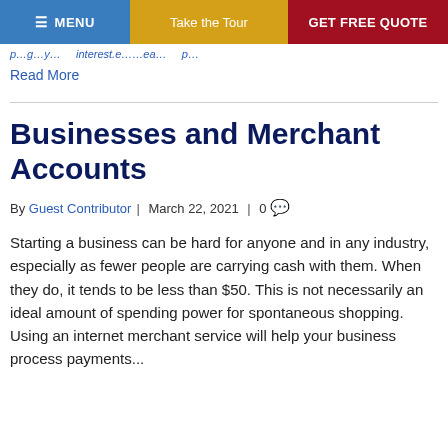MENU | Take the Tour | GET FREE QUOTE
p...g...y... | ...interest.ea... | p...
Read More
Businesses and Merchant Accounts
By Guest Contributor | March 22, 2021 | 0
Starting a business can be hard for anyone and in any industry, especially as fewer people are carrying cash with them. When they do, it tends to be less than $50. This is not necessarily an ideal amount of spending power for spontaneous shopping. Using an internet merchant service will help your business process payments...